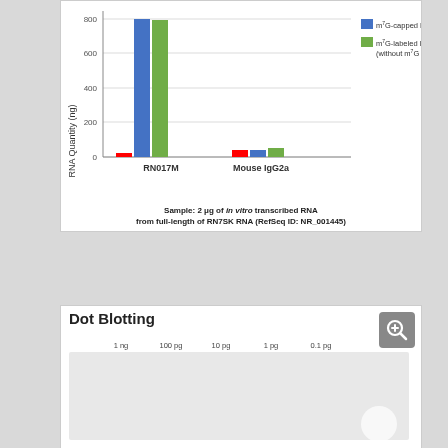[Figure (grouped-bar-chart): ]
Sample: 2 μg of in vitro transcribed RNA from full-length of RN7SK RNA (RefSeq ID: NR_001445)
Dot Blotting
[Figure (photo): Dot blotting image showing dilution series: 1 ng, 100 pg, 10 pg, 1 pg, 0.1 pg]